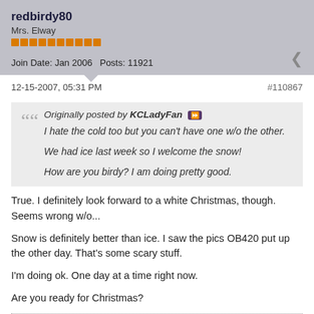redbirdy80
Mrs. Elway
Join Date: Jan 2006   Posts: 11921
12-15-2007, 05:31 PM
#110867
Originally posted by KCLadyFan
I hate the cold too but you can't have one w/o the other.

We had ice last week so I welcome the snow!

How are you birdy? I am doing pretty good.
True. I definitely look forward to a white Christmas, though. Seems wrong w/o...

Snow is definitely better than ice. I saw the pics OB420 put up the other day. That's some scary stuff.

I'm doing ok. One day at a time right now.

Are you ready for Christmas?